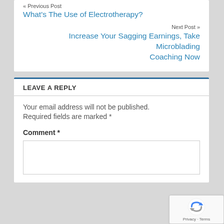« Previous Post
What's The Use of Electrotherapy?
Next Post »
Increase Your Sagging Earnings, Take Microblading Coaching Now
LEAVE A REPLY
Your email address will not be published. Required fields are marked *
Comment *